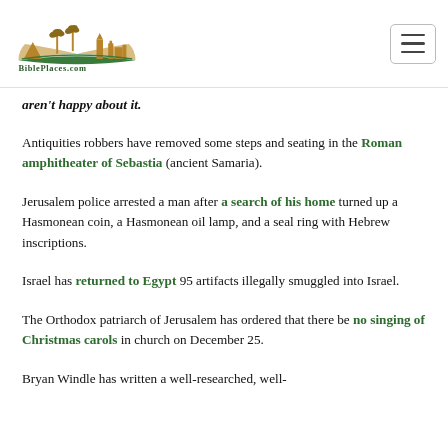BiblePlaces.com
aren't happy about it.
Antiquities robbers have removed some steps and seating in the Roman amphitheater of Sebastia (ancient Samaria).
Jerusalem police arrested a man after a search of his home turned up a Hasmonean coin, a Hasmonean oil lamp, and a seal ring with Hebrew inscriptions.
Israel has returned to Egypt 95 artifacts illegally smuggled into Israel.
The Orthodox patriarch of Jerusalem has ordered that there be no singing of Christmas carols in church on December 25.
Bryan Windle has written a well-researched, well-illustrated...